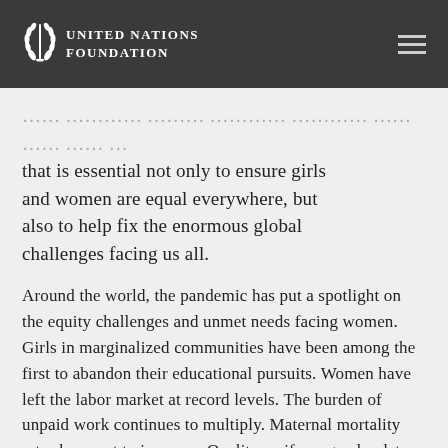UNITED NATIONS FOUNDATION
that is essential not only to ensure girls and women are equal everywhere, but also to help fix the enormous global challenges facing us all.
Around the world, the pandemic has put a spotlight on the equity challenges and unmet needs facing women. Girls in marginalized communities have been among the first to abandon their educational pursuits. Women have left the labor market at record levels. The burden of unpaid work continues to multiply. Maternal mortality rates have yet to improve. Quality, uniform gender data remains missing across